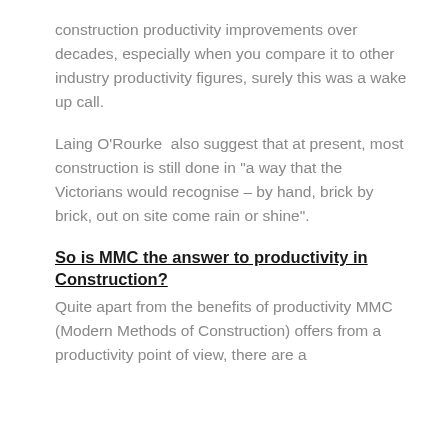construction productivity improvements over decades, especially when you compare it to other industry productivity figures, surely this was a wake up call.
Laing O'Rourke  also suggest that at present, most construction is still done in "a way that the Victorians would recognise – by hand, brick by brick, out on site come rain or shine".
So is MMC the answer to productivity in Construction?
Quite apart from the benefits of productivity MMC (Modern Methods of Construction) offers from a productivity point of view, there are a